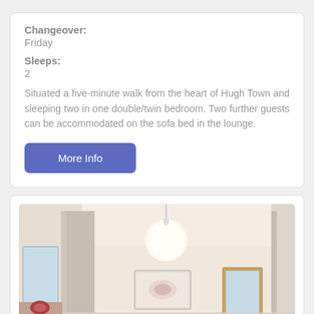Changeover: Friday
Sleeps: 2
Situated a five-minute walk from the heart of Hugh Town and sleeping two in one double/twin bedroom. Two further guests can be accommodated on the sofa bed in the lounge.
More Info
[Figure (photo): Interior room photo showing a hallway/bedroom with a round white ceiling light, a framed picture on the wall, and two mirrors visible.]